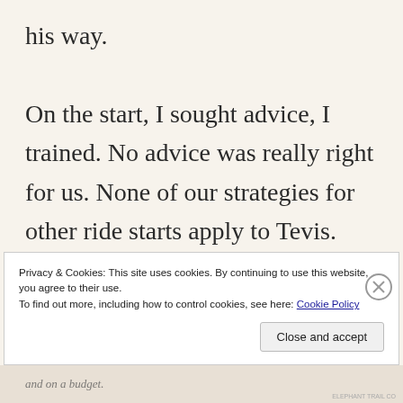his way.
On the start, I sought advice, I trained. No advice was really right for us. None of our strategies for other ride starts apply to Tevis. Mostly, I got
Privacy & Cookies: This site uses cookies. By continuing to use this website, you agree to their use.
To find out more, including how to control cookies, see here: Cookie Policy
Close and accept
and on a budget.